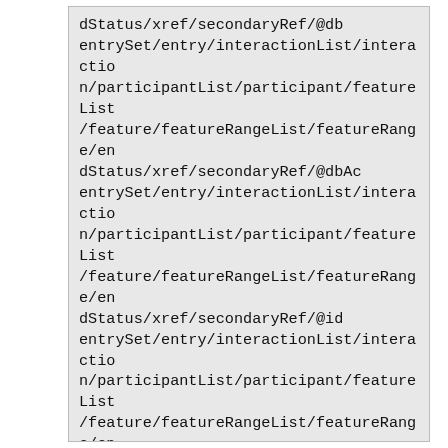dStatus/xref/secondaryRef/@db
entrySet/entry/interactionList/interaction/participantList/participant/featureList/feature/featureRangeList/featureRange/endStatus/xref/secondaryRef/@dbAc
entrySet/entry/interactionList/interaction/participantList/participant/featureList/feature/featureRangeList/featureRange/endStatus/xref/secondaryRef/@id
entrySet/entry/interactionList/interaction/participantList/participant/featureList/feature/featureRangeList/featureRange/endStatus/xref/secondaryRef/@refType
entrySet/entry/interactionList/interaction/participantList/participant/featureList/feature/featureRangeList/featureRange/endStatus/xref/secondaryRef/@refTypeAc
entrySet/entry/interactionList/interaction/participantList/participant/featureList/feature/featureRangeList/featureRange/isLink
entrySet/entry/interactionList/interactio